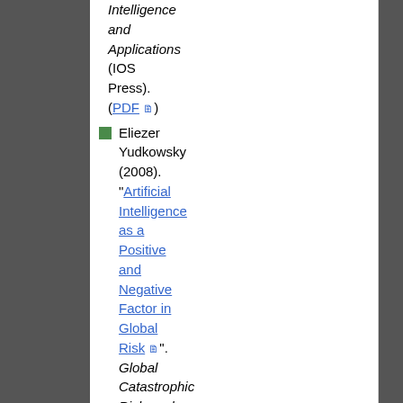Intelligence and Applications (IOS Press). (PDF 🗎)
Eliezer Yudkowsky (2008). "Artificial Intelligence as a Positive and Negative Factor in Global Risk 🗎". Global Catastrophic Risks, ed. Nick Bostrom